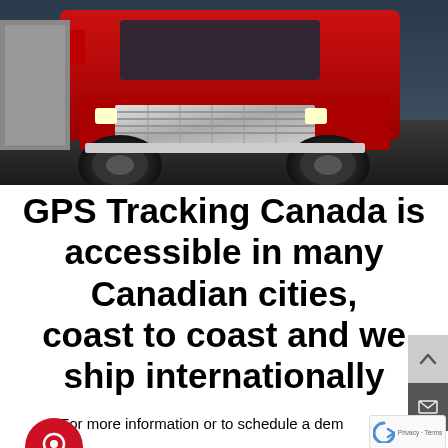[Figure (photo): Close-up photo of a large red semi-truck / big rig viewed from the front-low angle, showing the chrome grille, large black tires, and the front bumper. Dark moody background with overcast sky.]
GPS Tracking Canada is accessible in many Canadian cities, coast to coast and we ship internationally
For more information or to schedule a dem...